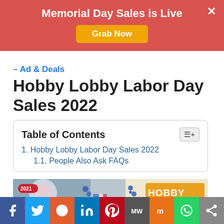[Figure (screenshot): Red promotional banner: 'Memorial Day Sales is Live' with orange 'Grab Now' button and close X]
– Ad & Deals
Hobby Lobby Labor Day Sales 2022
Table of Contents
1. Hobby Lobby Labor Day Sales 2022
1.1. People Also Ask FAQs
[Figure (photo): Hobby Lobby patriotic store display with fireworks, American flags, Hobby Lobby signage, red white and blue decorations. Year 2021 badge visible.]
[Figure (infographic): Social sharing bar at bottom: Facebook, Twitter, Reddit, LinkedIn, Pinterest, MediaWire, Mix, WhatsApp, Share buttons]